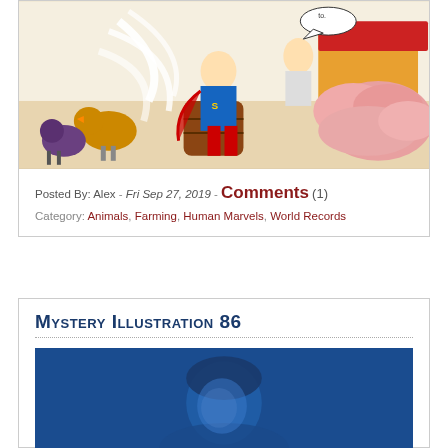[Figure (illustration): Comic book panel showing Superman sitting on a barrel surrounded by animals including chickens, with feathers flying and pigs in the background, and another character reacting.]
Posted By: Alex - Fri Sep 27, 2019 - Comments (1)
Category: Animals, Farming, Human Marvels, World Records
Mystery Illustration 86
[Figure (photo): Blue-tinted vintage photograph showing a person, partially visible from the shoulders up.]